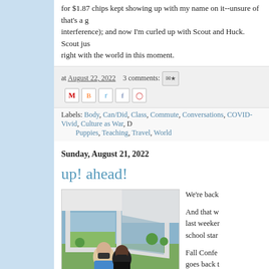for $1.87 chips kept showing up with my name on it--unsure of that's a ghostly interference); and now I'm curled up with Scout and Huck. Scout just right with the world in this moment.
at August 22, 2022   3 comments:
Labels: Body, Can/Did, Class, Commute, Conversations, COVID-Vivid, Culture as War, D... Puppies, Teaching, Travel, World
Sunday, August 21, 2022
up! ahead!
[Figure (photo): Two people wearing face masks sitting together in front of large angled windows with a view of green grass and trees outside.]
We're back

And that w last weeker school star

Fall Confe goes back t opening co election ar quite a we